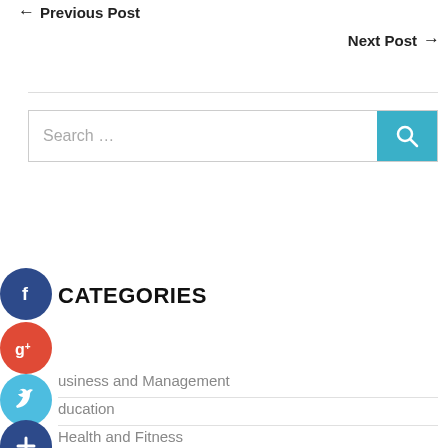← Previous Post
Next Post →
CATEGORIES
Business and Management
Education
Health and Fitness